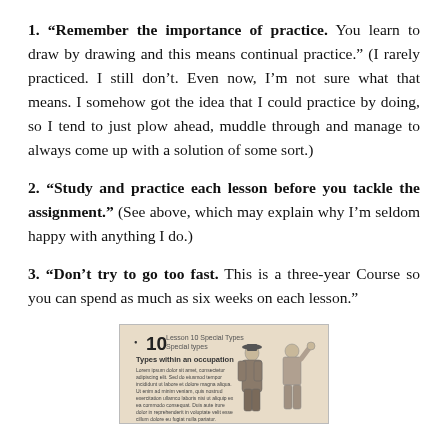1. "Remember the importance of practice." You learn to draw by drawing and this means continual practice." (I rarely practiced. I still don't. Even now, I'm not sure what that means. I somehow got the idea that I could practice by doing, so I tend to just plow ahead, muddle through and manage to always come up with a solution of some sort.)
2. "Study and practice each lesson before you tackle the assignment." (See above, which may explain why I'm seldom happy with anything I do.)
3. "Don't try to go too fast. This is a three-year Course so you can spend as much as six weeks on each lesson."
[Figure (photo): A page from a drawing course book, showing lesson 10 about Special Types with illustrations of two figures in costumes — one in a long coat and hat, another with arm raised.]